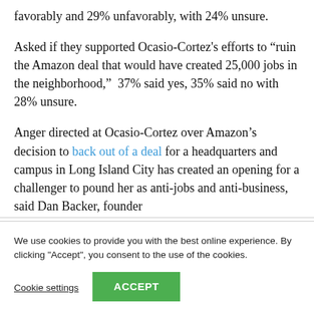favorably and 29% unfavorably, with 24% unsure.
Asked if they supported Ocasio-Cortez's efforts to "ruin the Amazon deal that would have created 25,000 jobs in the neighborhood," 37% said yes, 35% said no with 28% unsure.
Anger directed at Ocasio-Cortez over Amazon's decision to back out of a deal for a headquarters and campus in Long Island City has created an opening for a challenger to pound her as anti-jobs and anti-business, said Dan Backer, founder
We use cookies to provide you with the best online experience. By clicking "Accept", you consent to the use of the cookies.
Cookie settings
ACCEPT